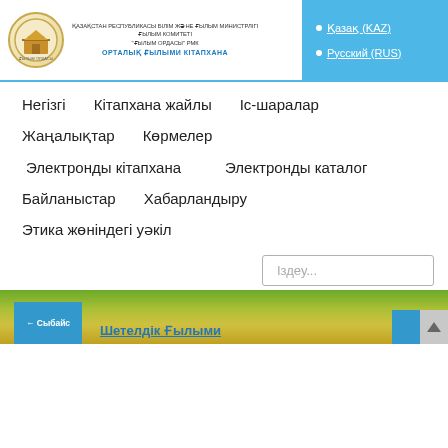[Figure (logo): Circular logo with building illustration, golden border, for Kazakhstan science library]
ҚАЗАҚСТАН РЕСПУБЛИКАСЫ БІЛІМ ЖӘНЕ ҒЫЛЫМ МИНИСТРЛІГІ
ҒЫЛЫМ КОМИТЕТІ
"ҒЫЛЫМ ОРДАСЫ" РМК
ОРТАЛЫҚ ҒЫЛЫМИ КІТАПХАНА
Қазақ (KAZ)
Русский (RUS)
Негізгі    Кітапхана жайлы    Іс-шаралар
Жаңалықтар    Көрмелер
Электронды кітапхана    Электронды каталог
Байланыстар    Хабарландыру
Этика жөніндегі уәкіл
Іздеу...
Шетелдік Ғылыми